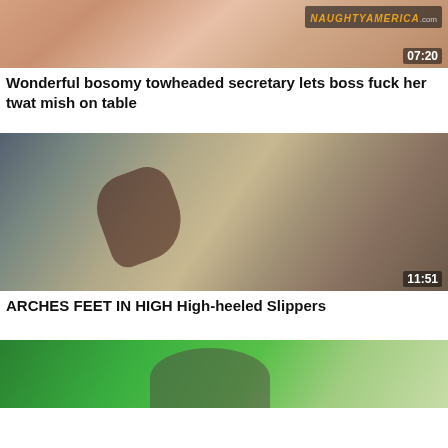[Figure (photo): Thumbnail of a blonde woman in a red/pink top, watermark NaughtyAmerica.com visible, duration 07:20]
07:20
Wonderful bosomy towheaded secretary lets boss fuck her twat mish on table
[Figure (photo): Thumbnail showing legs in high heels and a patterned dress, duration 11:51]
11:51
ARCHES FEET IN HIGH High-heeled Slippers
[Figure (photo): Thumbnail showing a person with brown hair against a green screen background]